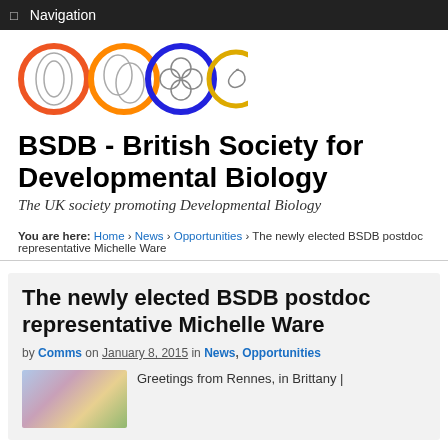Navigation
[Figure (logo): BSDB logo with four circles: red, orange, blue, yellow, each containing abstract overlapping ring designs]
BSDB - British Society for Developmental Biology
The UK society promoting Developmental Biology
You are here: Home › News › Opportunities › The newly elected BSDB postdoc representative Michelle Ware
The newly elected BSDB postdoc representative Michelle Ware
by Comms on January 8, 2015 in News, Opportunities
Greetings from Rennes, in Brittany |